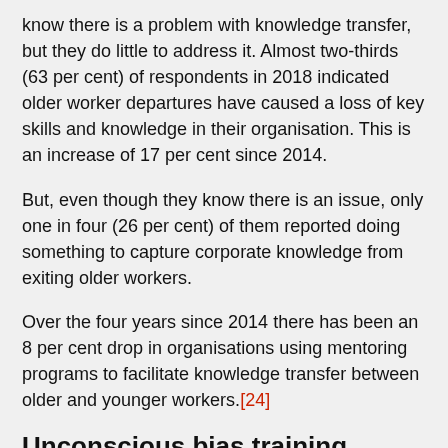know there is a problem with knowledge transfer, but they do little to address it. Almost two-thirds (63 per cent) of respondents in 2018 indicated older worker departures have caused a loss of key skills and knowledge in their organisation. This is an increase of 17 per cent since 2014.
But, even though they know there is an issue, only one in four (26 per cent) of them reported doing something to capture corporate knowledge from exiting older workers.
Over the four years since 2014 there has been an 8 per cent drop in organisations using mentoring programs to facilitate knowledge transfer between older and younger workers.[24]
Unconscious bias training
Do the managers in the organisation know how to manage older workers? The Employing Older Workers survey found that only about one in five (22 per cent) respondents